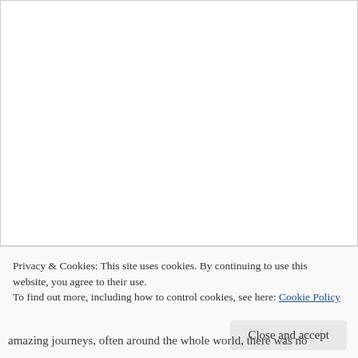[Figure (other): White/blank image area with border, top portion of page]
Privacy & Cookies: This site uses cookies. By continuing to use this website, you agree to their use.
To find out more, including how to control cookies, see here: Cookie Policy
Close and accept
amazing journeys, often around the whole world, there was no